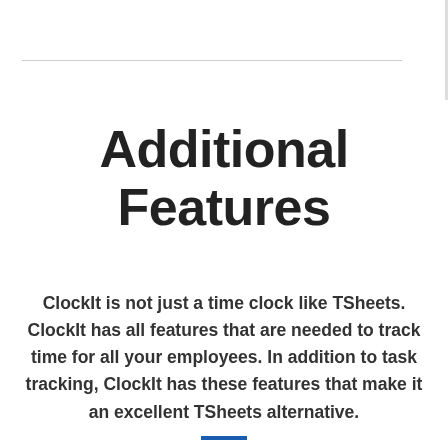Additional Features
ClockIt is not just a time clock like TSheets. ClockIt has all features that are needed to track time for all your employees. In addition to task tracking, ClockIt has these features that make it an excellent TSheets alternative.